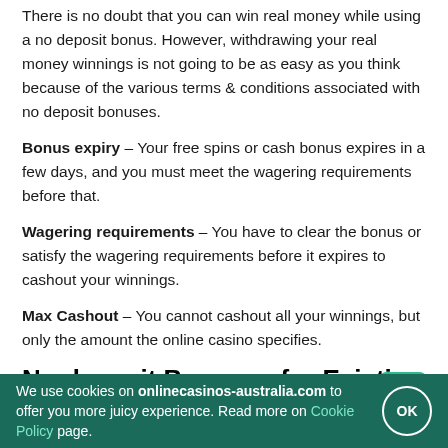There is no doubt that you can win real money while using a no deposit bonus. However, withdrawing your real money winnings is not going to be as easy as you think because of the various terms & conditions associated with no deposit bonuses.
Bonus expiry – Your free spins or cash bonus expires in a few days, and you must meet the wagering requirements before that.
Wagering requirements – You have to clear the bonus or satisfy the wagering requirements before it expires to cashout your winnings.
Max Cashout – You cannot cashout all your winnings, but only the amount the online casino specifies.
No deposit Bonuses for Existing Players
The best Australian online casinos offer plenty of no-deposit bonuses for existing players. Usually, they come in the form of free spins on new pokies or pokies that the online casino wants to promote. You may also get no deposit bonuses as rewards for loyalty.
How do you find these bonus offers? The online casino emails some
We use cookies on onlinecasinos-australia.com to offer you more juicy experience. Read more on Cookie Policy page.